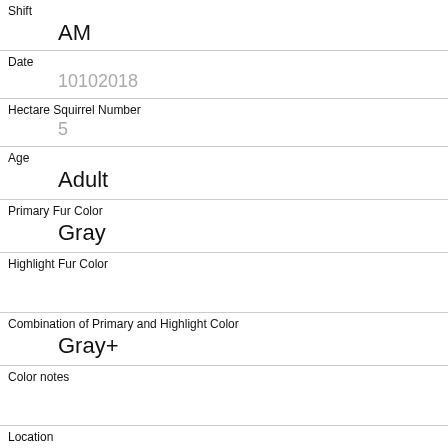Shift
AM
Date
10102018
Hectare Squirrel Number
5
Age
Adult
Primary Fur Color
Gray
Highlight Fur Color
Combination of Primary and Highlight Color
Gray+
Color notes
Location
Ground Plane
Above Ground Sighter Measurement
FALSE